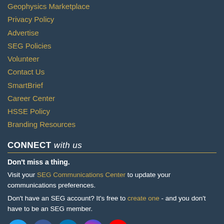Geophysics Marketplace
Privacy Policy
Advertise
SEG Policies
Volunteer
Contact Us
SmartBrief
Career Center
HSSE Policy
Branding Resources
CONNECT with us
Don't miss a thing.
Visit your SEG Communications Center to update your communications preferences.
Don't have an SEG account? It's free to create one - and you don't have to be an SEG member.
[Figure (infographic): Social media icons: Twitter (blue circle), Facebook (dark blue circle), LinkedIn (blue circle), Instagram (gradient circle), YouTube (red circle)]